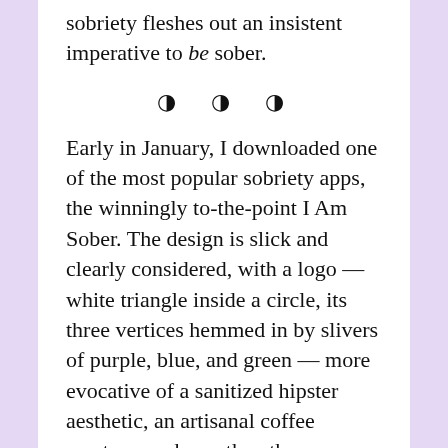sobriety fleshes out an insistent imperative to be sober.
[Figure (other): Three half-filled circle decorative divider symbols]
Early in January, I downloaded one of the most popular sobriety apps, the winningly to-the-point I Am Sober. The design is slick and clearly considered, with a logo — white triangle inside a circle, its three vertices hemmed in by slivers of purple, blue, and green — more evocative of a sanitized hipster aesthetic, an artisanal coffee roastery, perhaps, than the more vertiginous actuality of addiction recovery. Upon opening I Am Sober for the first time, the user is prompted